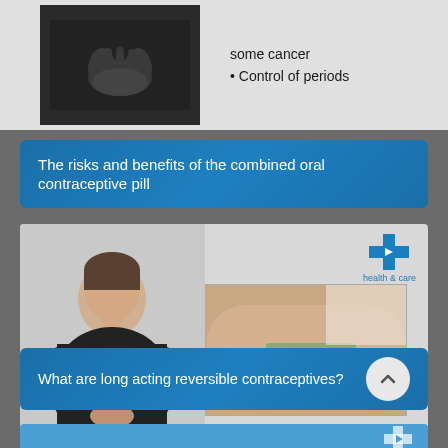[Figure (screenshot): Partial view of a health video showing a person with clasped hands (dark clothing) on left, and bullet points on right: 'some cancer', 'Control of periods']
some cancer
Control of periods
The risks and benefits of the combined oral contraceptive pill
[Figure (screenshot): Health and care video thumbnail showing a female presenter in black top on left, and an inset image of an arm (implant procedure) on right. Health & care videos logo in top right corner.]
What are long acting reversible contraceptives?
[Figure (screenshot): Partial blue banner at bottom of page, partially visible health and care videos logo on right side]